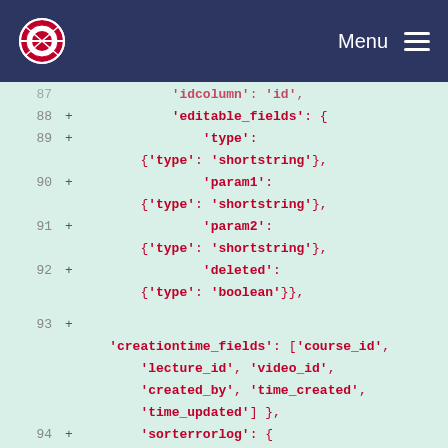Menu
[Figure (screenshot): Code diff view showing lines 87-98 of a Python/config file. Lines show editable_fields with type, param1, param2, deleted keys (shortstring/boolean types), creationtime_fields list, and sorterrorlog table definition. Background is light green/teal, code text is dark red/crimson on a diff viewer interface.]